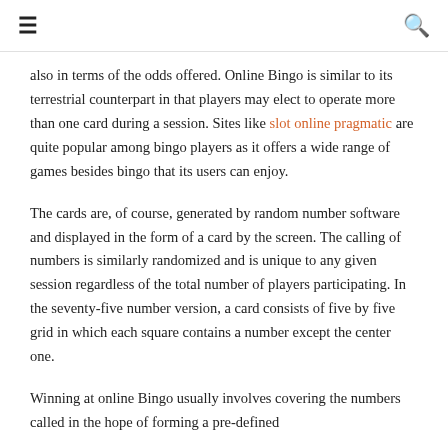≡  🔍
also in terms of the odds offered. Online Bingo is similar to its terrestrial counterpart in that players may elect to operate more than one card during a session. Sites like slot online pragmatic are quite popular among bingo players as it offers a wide range of games besides bingo that its users can enjoy.
The cards are, of course, generated by random number software and displayed in the form of a card by the screen. The calling of numbers is similarly randomized and is unique to any given session regardless of the total number of players participating. In the seventy-five number version, a card consists of five by five grid in which each square contains a number except the center one.
Winning at online Bingo usually involves covering the numbers called in the hope of forming a pre-defined